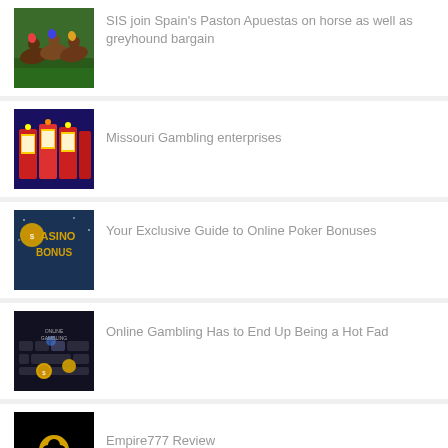SIS join Spain’s Paston Apuestas on horse as well as greyhound bargain
Missouri Gambling enterprises
Your Exclusive Guide to Online Poker Bonuses
Online Gambling Has to End Up Being a Hot Fad
Empire777 Review
W88 Review